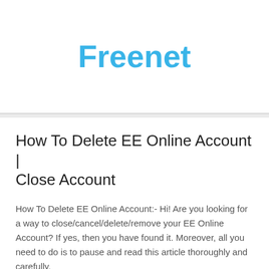Freenet
How To Delete EE Online Account | Close Account
How To Delete EE Online Account:- Hi! Are you looking for a way to close/cancel/delete/remove your EE Online Account? If yes, then you have found it. Moreover, all you need to do is to pause and read this article thoroughly and carefully.
Meanwhile, our website users flood our mailbox with requests on how to delete their accounts from the EE